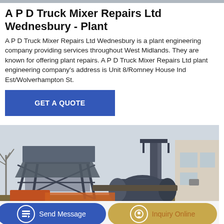A P D Truck Mixer Repairs Ltd Wednesbury - Plant
A P D Truck Mixer Repairs Ltd Wednesbury is a plant engineering company providing services throughout West Midlands. They are known for offering plant repairs. A P D Truck Mixer Repairs Ltd plant engineering company's address is Unit 8/Romney House Ind Est/Wolverhampton St.
GET A QUOTE
[Figure (photo): Industrial plant machinery — a large metal framed belt conveyor or aggregate handling structure with a cylindrical drum mixer on the right side, set outdoors near a building.]
Send Message
Inquiry Online